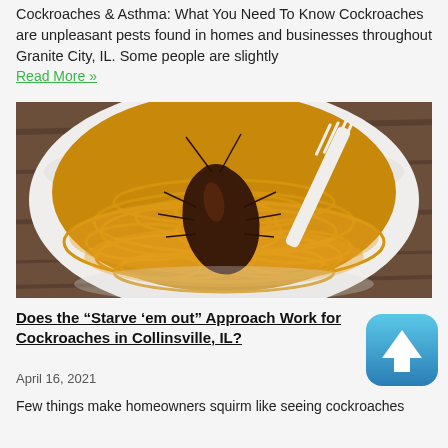Cockroaches & Asthma: What You Need To Know Cockroaches are unpleasant pests found in homes and businesses throughout Granite City, IL. Some people are slightly
Read More »
[Figure (photo): A white bowl of instant noodles with a cockroach sitting on top, and a white plastic fork resting in the bowl, on a wooden table background.]
Does the "Starve 'em out" Approach Work for Cockroaches in Collinsville, IL?
April 16, 2021
Few things make homeowners squirm like seeing cockroaches
[Figure (illustration): Blue rounded square scroll-to-top button with white upward arrow]